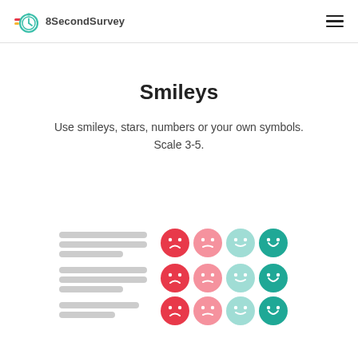8SecondSurvey
Smileys
Use smileys, stars, numbers or your own symbols. Scale 3-5.
[Figure (illustration): Survey UI mockup showing three rows of text placeholder lines each accompanied by four smiley face icons in a scale from red/unhappy to teal/happy]